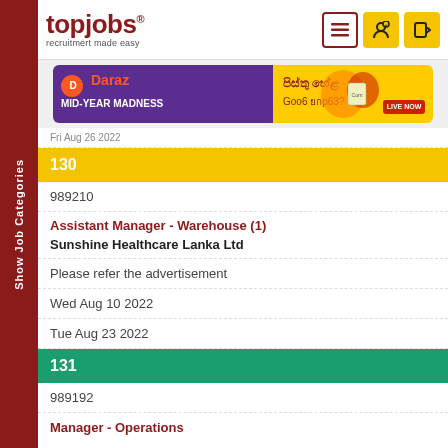[Figure (logo): topjobs logo with tagline 'recruitmert made easy']
[Figure (other): Daraz MID-YEAR MADNESS advertisement banner]
Fri Aug 26 2022
130
989210
Assistant Manager - Warehouse (1)
Sunshine Healthcare Lanka Ltd
Please refer the advertisement
Wed Aug 10 2022
Tue Aug 23 2022
131
989192
Manager - Operations